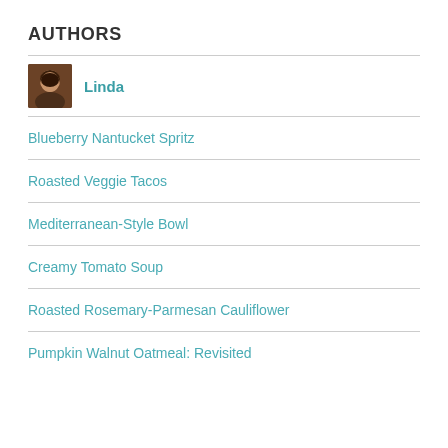AUTHORS
[Figure (photo): Small portrait photo of author Linda]
Linda
Blueberry Nantucket Spritz
Roasted Veggie Tacos
Mediterranean-Style Bowl
Creamy Tomato Soup
Roasted Rosemary-Parmesan Cauliflower
Pumpkin Walnut Oatmeal: Revisited